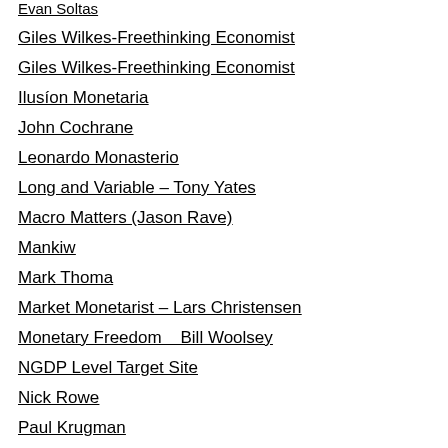Evan Soltas
Giles Wilkes-Freethinking Economist
Giles Wilkes-Freethinking Economist
Ilusíon Monetaria
John Cochrane
Leonardo Monasterio
Long and Variable – Tony Yates
Macro Matters (Jason Rave)
Mankiw
Mark Thoma
Market Monetarist – Lars Christensen
Monetary Freedom   Bill Woolsey
NGDP Level Target Site
Nick Rowe
Paul Krugman
Scott Sumner